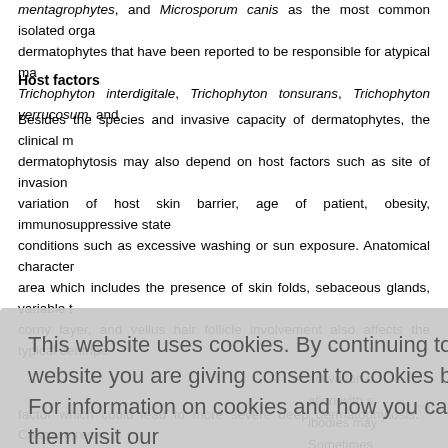mentagrophytes, and Microsporum canis as the most common isolated organisms. Other dermatophytes that have been reported to be responsible for atypical manifestations include Trichophyton interdigitale, Trichophyton tonsurans, Trichophyton verrucosum, and...
Host factors
Besides the species and invasive capacity of dermatophytes, the clinical manifestation of dermatophytosis may also depend on host factors such as site of invasion, anatomical variation of host skin barrier, age of patient, obesity, immunosuppressive state, and external conditions such as excessive washing or sun exposure. Anatomical characteristics of the affected area which includes the presence of skin folds, sebaceous glands, variable thickness of the corny layer, and vellus hair follicle involvement also affects the typical centripetal...
activation of... ation with s... ibodies may... Sometimes... he cause o... [7] The ex... ce of CMI... d processin... ent levels m...
[Figure (screenshot): Cookie consent overlay dialog with text 'This website uses cookies. By continuing to use this website you are giving consent to cookies being used. For information on cookies and how you can disable them visit our Privacy and Cookie Policy.' and a red 'AGREE & PROCEED' button.]
factor which could lead to more severe deep dermatophytosis.[5] Caspase recrU...